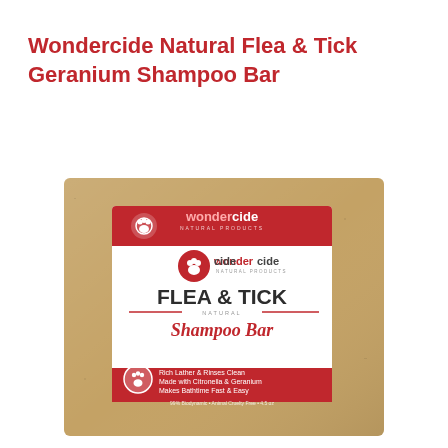Wondercide Natural Flea & Tick Geranium Shampoo Bar
[Figure (photo): Photo of Wondercide Natural Flea & Tick Geranium Shampoo Bar product — a rectangular bar wrapped in kraft cardboard with a white and red label showing the Wondercide logo, 'FLEA & TICK Natural Shampoo Bar' text, and a red bottom stripe with a paw print icon and bullet points: Rich Lather & Rinses Clean, Made with Citronella & Geranium, Makes Bathtime Fast & Easy]